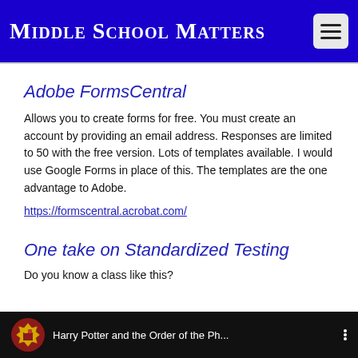Middle School Matters
Adobe FormsCentral
Allows you to create forms for free. You must create an account by providing an email address. Responses are limited to 50 with the free version. Lots of templates available. I would use Google Forms in place of this. The templates are the one advantage to Adobe.
https://formscentral.acrobat.com/
One take on Standardized Testing
Do you know a class like this?
[Figure (screenshot): YouTube video thumbnail showing Harry Potter and the Order of the Ph... with a circular Hogwarts crest icon on dark background]